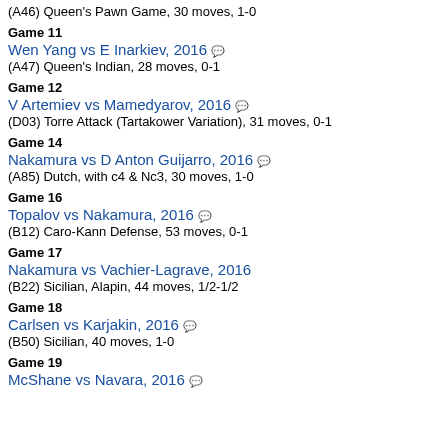(A46) Queen's Pawn Game, 30 moves, 1-0
Game 11
Wen Yang vs E Inarkiev, 2016
(A47) Queen's Indian, 28 moves, 0-1
Game 12
V Artemiev vs Mamedyarov, 2016
(D03) Torre Attack (Tartakower Variation), 31 moves, 0-1
Game 14
Nakamura vs D Anton Guijarro, 2016
(A85) Dutch, with c4 & Nc3, 30 moves, 1-0
Game 16
Topalov vs Nakamura, 2016
(B12) Caro-Kann Defense, 53 moves, 0-1
Game 17
Nakamura vs Vachier-Lagrave, 2016
(B22) Sicilian, Alapin, 44 moves, 1/2-1/2
Game 18
Carlsen vs Karjakin, 2016
(B50) Sicilian, 40 moves, 1-0
Game 19
McShane vs Navara, 2016